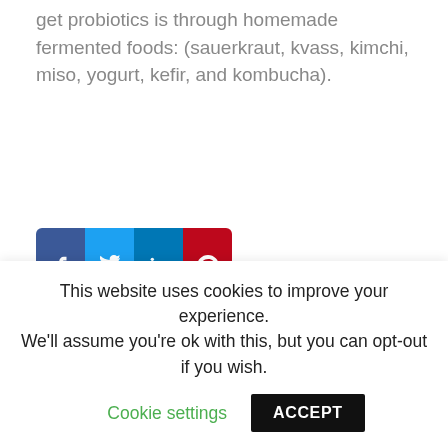get probiotics is through homemade fermented foods: (sauerkraut, kvass, kimchi, miso, yogurt, kefir, and kombucha).
[Figure (other): Social sharing buttons: Facebook (blue), Twitter (light blue), LinkedIn (dark blue), Pinterest (red)]
This website uses cookies to improve your experience. We'll assume you're ok with this, but you can opt-out if you wish. Cookie settings  ACCEPT